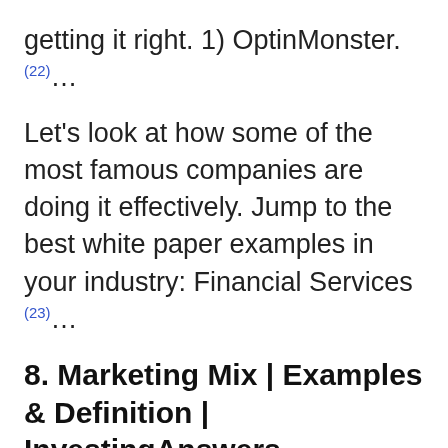getting it right. 1) OptinMonster.(22)...
Let's look at how some of the most famous companies are doing it effectively. Jump to the best white paper examples in your industry: Financial Services (23)...
8. Marketing Mix | Examples & Definition | InvestingAnswers
The definition of marketing mix can best be described as the combination of elements used to promote products or services. These variable elements are